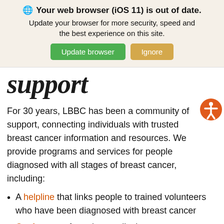[Figure (screenshot): Browser update notification banner with globe icon, bold title 'Your web browser (iOS 11) is out of date.', subtitle text, green 'Update browser' button and tan 'Ignore' button]
support
For 30 years, LBBC has been a community of support, connecting individuals with trusted breast cancer information and resources. We provide programs and services for people diagnosed with all stages of breast cancer, including:
A helpline that links people to trained volunteers who have been diagnosed with breast cancer
Conferences featuring medical experts, educational sessions, and interactive